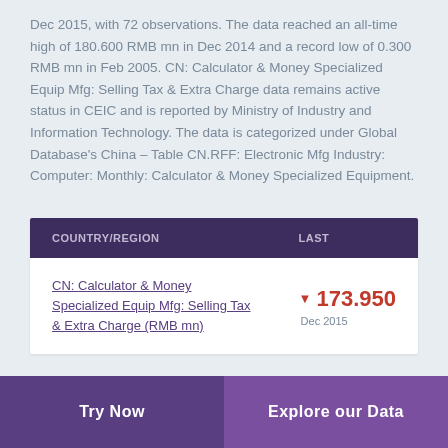Dec 2015, with 72 observations. The data reached an all-time high of 180.600 RMB mn in Dec 2014 and a record low of 0.300 RMB mn in Feb 2005. CN: Calculator & Money Specialized Equip Mfg: Selling Tax & Extra Charge data remains active status in CEIC and is reported by Ministry of Industry and Information Technology. The data is categorized under Global Database's China – Table CN.RFF: Electronic Mfg Industry: Computer: Monthly: Calculator & Money Specialized Equipment.
| COUNTRY/REGION | LAST |
| --- | --- |
| CN: Calculator & Money Specialized Equip Mfg: Selling Tax & Extra Charge (RMB mn) | ▼ 173.950
Dec 2015 |
Try Now   Explore our Data